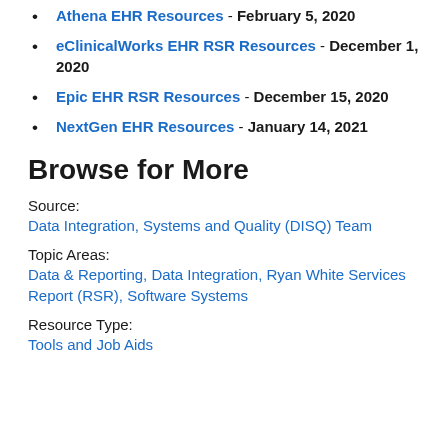Athena EHR Resources - February 5, 2020
eClinicalWorks EHR RSR Resources - December 1, 2020
Epic EHR RSR Resources - December 15, 2020
NextGen EHR Resources - January 14, 2021
Browse for More
Source:
Data Integration, Systems and Quality (DISQ) Team
Topic Areas:
Data & Reporting, Data Integration, Ryan White Services Report (RSR), Software Systems
Resource Type:
Tools and Job Aids